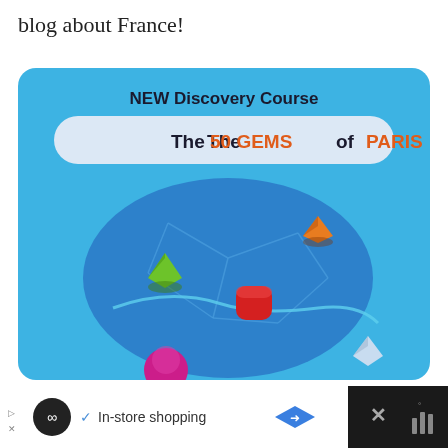blog about France!
[Figure (screenshot): A mobile app advertisement card with blue background showing 'NEW Discovery Course - The 50 GEMS of PARIS' with a stylized map of Paris featuring colorful gem icons (green, orange, red, magenta, white gems) on a blue map with district outlines.]
[Figure (screenshot): Ad banner at bottom: black background with white ad strip showing a circular logo, checkmark, 'In-store shopping' text, blue diamond arrow icon, and a dark close area with X and bar chart icons.]